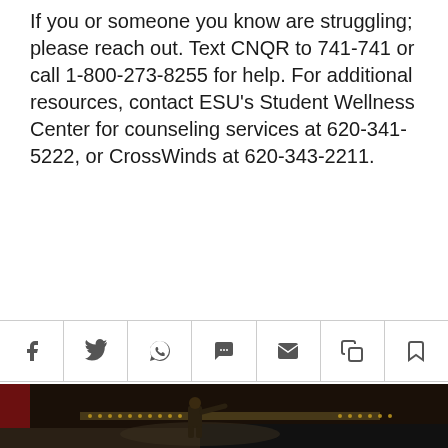If you or someone you know are struggling; please reach out. Text CNQR to 741-741 or call 1-800-273-8255 for help. For additional resources, contact ESU's Student Wellness Center for counseling services at 620-341-5222, or CrossWinds at 620-343-2211.
[Figure (other): Social sharing icon bar with icons for Facebook, Twitter, WhatsApp, SMS/chat, email, copy, and bookmark]
[Figure (photo): A speaker standing on a theater stage, arms outstretched holding a microphone, facing a large seated audience in an ornate auditorium]